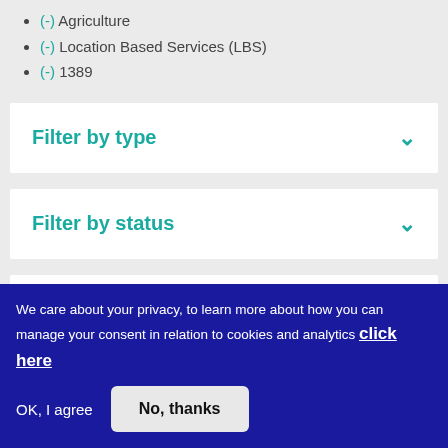(-) Agriculture
(-) Location Based Services (LBS)
(-) 1389
Filter by type
Filter by status
Filter by segment
We care about your privacy, to learn more about how you can manage your consent in relation to cookies and analytics click here
OK, I agree
No, thanks